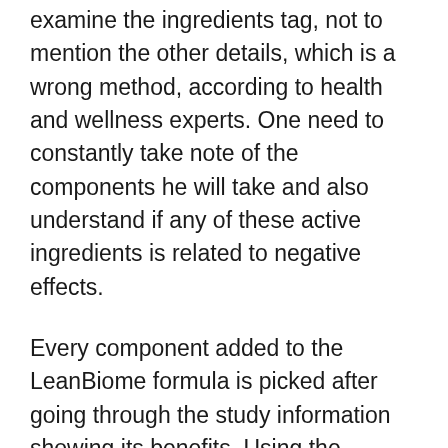examine the ingredients tag, not to mention the other details, which is a wrong method, according to health and wellness experts. One need to constantly take note of the components he will take and also understand if any of these active ingredients is related to negative effects.
Every component added to the LeanBiome formula is picked after going through the study information showing its benefits. Using the original nutritional resource can likewise aid obtain the probiotics, however the supplement kind has a much better effectiveness than food; plus, it provides you several stress in one small capsule, as well as you do not need to consume a great deal of probiotics abundant foods on a daily basis. It is a vegan/vegetarian-friendly item, without nuts, soy,